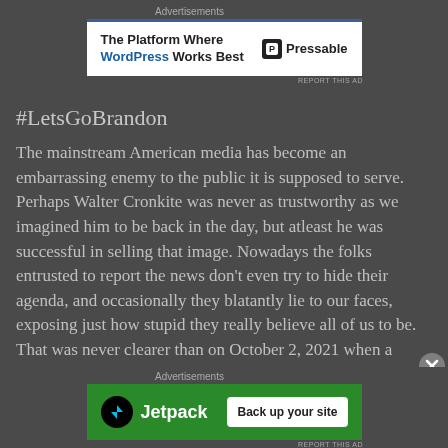[Figure (screenshot): Top advertisement banner: 'The Platform Where WordPress Works Best' with Pressable logo]
#LetsGoBrandon
The mainstream American media has become an embarrassing enemy to the public it is supposed to serve. Perhaps Walter Cronkite was never as trustworthy as we imagined him to be back in the day, but atleast he was successful in selling that image. Nowadays the folks entrusted to report the news don't even try to hide their agenda, and occasionally they blatantly lie to our faces, exposing just how stupid they really believe all of us to be. That was never clearer than on October 2, 2021 when a reporter was conducting a post-
[Figure (screenshot): Bottom advertisement banner: Jetpack 'Back up your site' green banner ad]